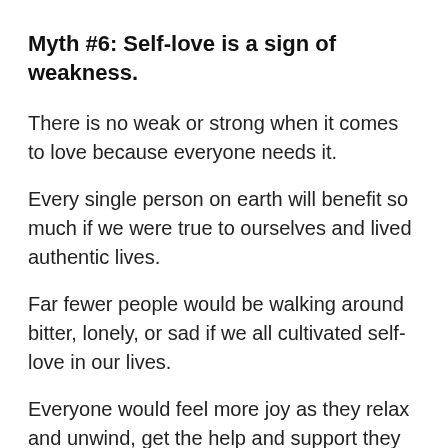Myth #6: Self-love is a sign of weakness.
There is no weak or strong when it comes to love because everyone needs it.
Every single person on earth will benefit so much if we were true to ourselves and lived authentic lives.
Far fewer people would be walking around bitter, lonely, or sad if we all cultivated self-love in our lives.
Everyone would feel more joy as they relax and unwind, get the help and support they need, and bring out the best in themselves.